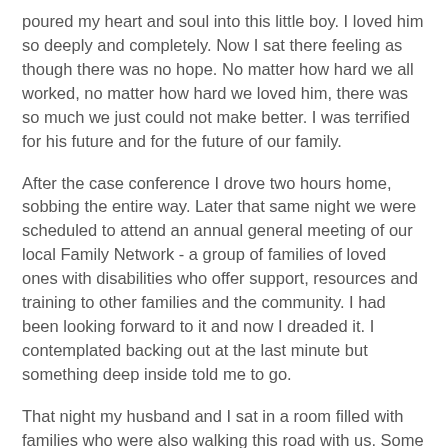poured my heart and soul into this little boy. I loved him so deeply and completely. Now I sat there feeling as though there was no hope. No matter how hard we all worked, no matter how hard we loved him, there was so much we just could not make better. I was terrified for his future and for the future of our family.
After the case conference I drove two hours home, sobbing the entire way. Later that same night we were scheduled to attend an annual general meeting of our local Family Network - a group of families of loved ones with disabilities who offer support, resources and training to other families and the community. I had been looking forward to it and now I dreaded it. I contemplated backing out at the last minute but something deep inside told me to go.
That night my husband and I sat in a room filled with families who were also walking this road with us. Some were many years ahead in their journey, some were just starting out. It didn't matter the specific diagnosis or severity of needs of our loved ones. We all had experienced similar, difficult things in our journies - rejection, pain, fear, exclusion. But all